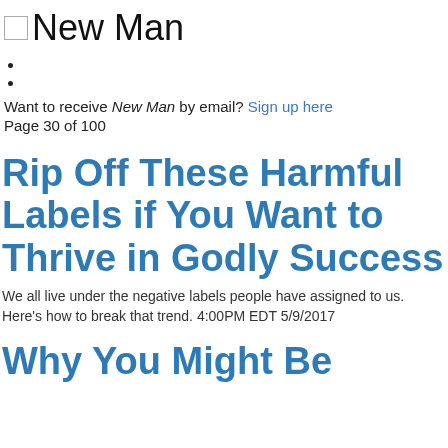New Man
Want to receive New Man by email? Sign up here
Page 30 of 100
Rip Off These Harmful Labels if You Want to Thrive in Godly Success
We all live under the negative labels people have assigned to us. Here's how to break that trend. 4:00PM EDT 5/9/2017
Why You Might Be